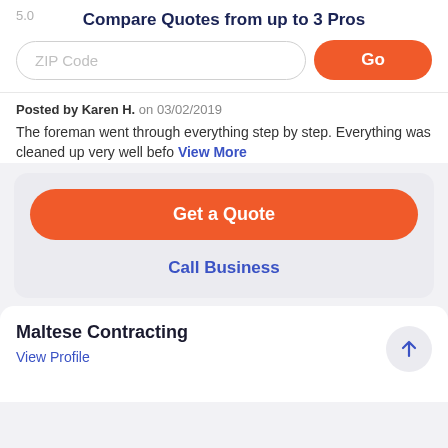5.0
Compare Quotes from up to 3 Pros
ZIP Code | Go
Posted by Karen H. on 03/02/2019
The foreman went through everything step by step. Everything was cleaned up very well befo View More
Get a Quote
Call Business
Maltese Contracting
View Profile